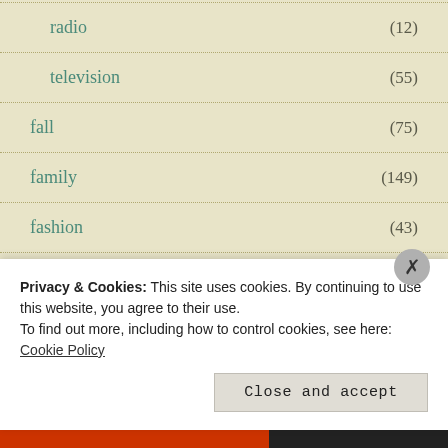radio (12)
television (55)
fall (75)
family (149)
fashion (43)
feelings (351)
feminism (57)
Privacy & Cookies: This site uses cookies. By continuing to use this website, you agree to their use.
To find out more, including how to control cookies, see here: Cookie Policy
Close and accept